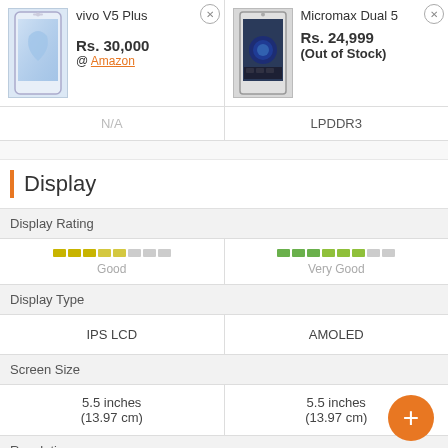[Figure (photo): vivo V5 Plus smartphone image]
vivo V5 Plus
Rs. 30,000
@ Amazon
[Figure (photo): Micromax Dual 5 smartphone image]
Micromax Dual 5
Rs. 24,999
(Out of Stock)
| vivo V5 Plus | Micromax Dual 5 |
| --- | --- |
| N/A | LPDDR3 |
Display
| vivo V5 Plus | Micromax Dual 5 |
| --- | --- |
| Good | Very Good |
| IPS LCD | AMOLED |
| 5.5 inches
(13.97 cm) | 5.5 inches
(13.97 cm) |
Resolution